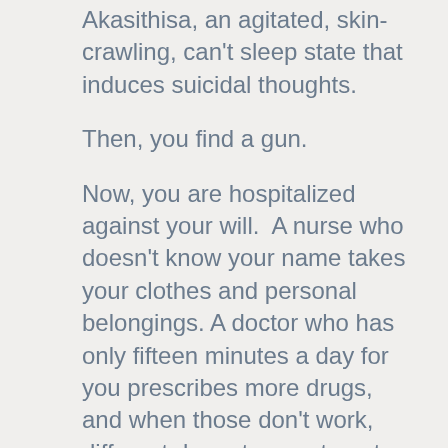Akasithisa, an agitated, skin-crawling, can't sleep state that induces suicidal thoughts.
Then, you find a gun.
Now, you are hospitalized against your will.  A nurse who doesn't know your name takes your clothes and personal belongings. A doctor who has only fifteen minutes a day for you prescribes more drugs, and when those don't work, different drugs to counteract the side-effects. You are a threat. And hopeless. You lie about your state of mind to get out of the hospital.  To be free of it all.
This is my experience of my partner's illness, but in conversations with hundreds of other family members who have cared for someone with a brain illness, there is a shared sense of confusion, guilt, and even denial. It helped me immensely to hear